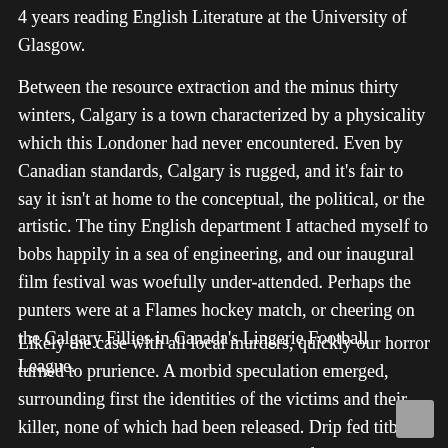4 years reading English Literature at the University of Glasgow.
Between the resource extraction and the minus thirty winters, Calgary is a town characterized by a physicality which this Londoner had never encountered. Even by Canadian standards, Calgary is rugged, and it's fair to say it isn't at home to the conceptual, the political, or the artistic. The tiny English department I attached myself to bobs happily in a sea of engineering, and our inaugural film festival was woefully under-attended. Perhaps the punters were at a Flames hockey match, or cheering on the Calgary Fillies in Canada's Lingerie Football League.
Likely the case with all local murders, quickly our horror turned to prurience. A morbid speculation emerged, surrounding first the identities of the victims and their killer, none of which had been released. Drip fed titbits by the starved media, the details that surfaced prompted more